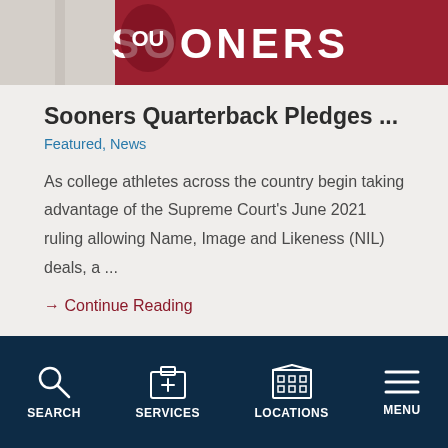[Figure (photo): Partial image showing Oklahoma Sooners branding/banner at the top]
Sooners Quarterback Pledges ...
Featured, News
As college athletes across the country begin taking advantage of the Supreme Court's June 2021 ruling allowing Name, Image and Likeness (NIL) deals, a ...
→ Continue Reading
[Figure (illustration): Dark red bookmark icon with a star]
SEARCH   SERVICES   LOCATIONS   MENU